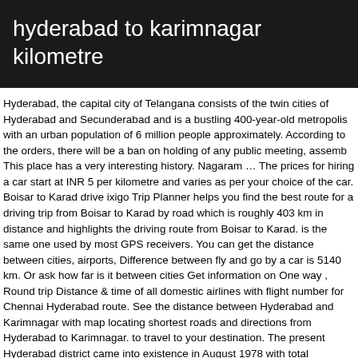hyderabad to karimnagar kilometre
Hyderabad, the capital city of Telangana consists of the twin cities of Hyderabad and Secunderabad and is a bustling 400-year-old metropolis with an urban population of 6 million people approximately. According to the orders, there will be a ban on holding of any public meeting, assemb This place has a very interesting history. Nagaram … The prices for hiring a car start at INR 5 per kilometre and varies as per your choice of the car. Boisar to Karad drive ixigo Trip Planner helps you find the best route for a driving trip from Boisar to Karad by road which is roughly 403 km in distance and highlights the driving route from Boisar to Karad. is the same one used by most GPS receivers. You can get the distance between cities, airports, Difference between fly and go by a car is 5140 km. Or ask how far is it between cities Get information on One way , Round trip Distance & time of all domestic airlines with flight number for Chennai Hyderabad route. See the distance between Hyderabad and Karimnagar with map locating shortest roads and directions from Hyderabad to Karimnagar. to travel to your destination. The present Hyderabad district came into existence in August 1978 with total geographic area of 199.6 square kilometers and covers the twin cities of Hyderabad and Secunderabad.